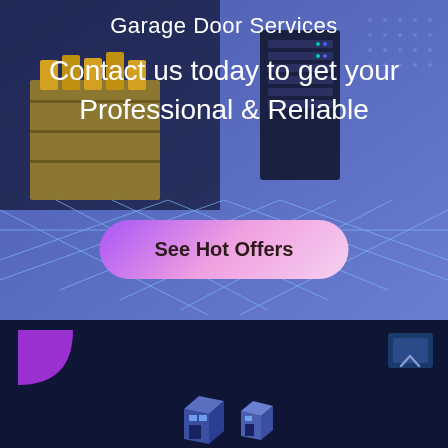[Figure (illustration): Top hero section with dark blue semi-transparent overlay on illustrated background showing isometric server/filing cabinet scenes with purple-blue color scheme and geometric floor lines]
Garage Door Services
Contact us today to get your Professional & Reliable
See Hot Offers
[Figure (illustration): Bottom dark navy section with purple quarter-circle accent on left, blue corner accent on right with chevron icon, and isometric building icons at the bottom center]